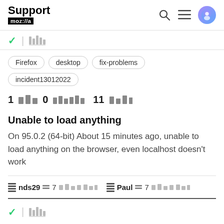Support mozilla
Firefox  desktop  fix-problems  incident13012022
1 [replies] 0 [helpful] 11 [views]
Unable to load anything
On 95.0.2 (64-bit) About 15 minutes ago, unable to load anything on the browser, even localhost doesn't work
nds29  7 [years ago]     Paul  7 [years ago]